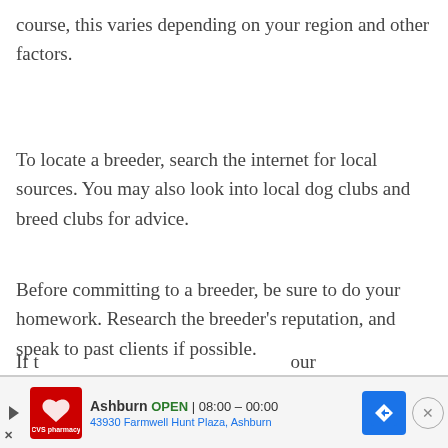course, this varies depending on your region and other factors.
To locate a breeder, search the internet for local sources. You may also look into local dog clubs and breed clubs for advice.
Before committing to a breeder, be sure to do your homework. Research the breeder’s reputation, and speak to past clients if possible.
Also, don’t be afraid to ask the breeder about their certifications, training, and any health tests they conduct on their dogs.
[Figure (screenshot): Advertisement banner for CVS Pharmacy in Ashburn showing store hours OPEN 08:00-00:00 at 43930 Farmwell Hunt Plaza, Ashburn with navigation arrow icon and close button]